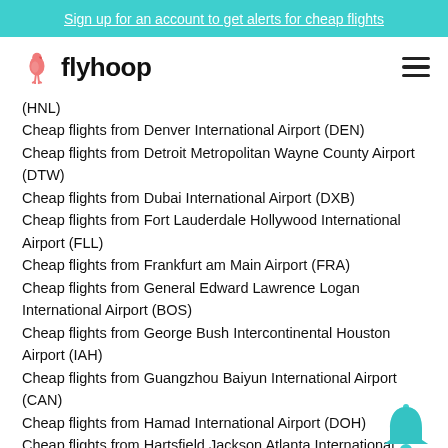Sign up for an account to get alerts for cheap flights
[Figure (logo): Flyhoop logo with flamingo icon and text 'flyhoop']
(HNL)
Cheap flights from Denver International Airport (DEN)
Cheap flights from Detroit Metropolitan Wayne County Airport (DTW)
Cheap flights from Dubai International Airport (DXB)
Cheap flights from Fort Lauderdale Hollywood International Airport (FLL)
Cheap flights from Frankfurt am Main Airport (FRA)
Cheap flights from General Edward Lawrence Logan International Airport (BOS)
Cheap flights from George Bush Intercontinental Houston Airport (IAH)
Cheap flights from Guangzhou Baiyun International Airport (CAN)
Cheap flights from Hamad International Airport (DOH)
Cheap flights from Hartsfield Jackson Atlanta International Airport (ATL)